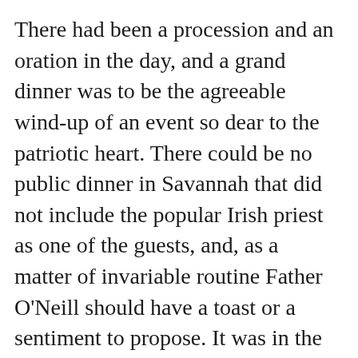There had been a procession and an oration in the day, and a grand dinner was to be the agreeable wind-up of an event so dear to the patriotic heart. There could be no public dinner in Savannah that did not include the popular Irish priest as one of the guests, and, as a matter of invariable routine Father O'Neill should have a toast or a sentiment to propose. It was in the time when the wretched 'Know-Nothing' excitement was rife in most parts of America, and the furious cry of 'Down with the foreigner! down with the Papist!' found an echo in the South.
'I have listened,' said Father O'Neill, 'to the oration